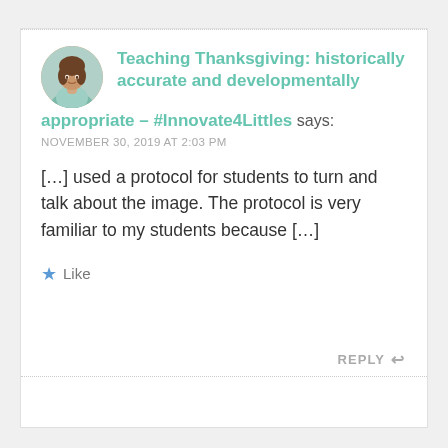Teaching Thanksgiving: historically accurate and developmentally appropriate – #Innovate4Littles says:
NOVEMBER 30, 2019 AT 2:03 PM
[…] used a protocol for students to turn and talk about the image. The protocol is very familiar to my students because […]
Like
REPLY